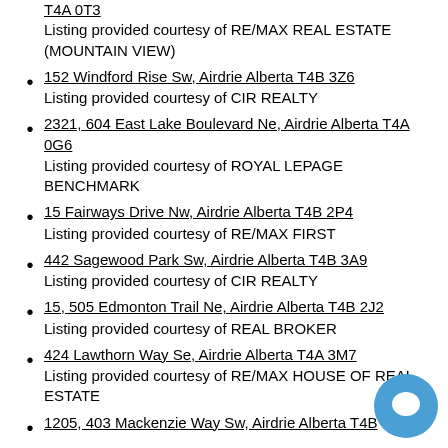T4A 0T3
Listing provided courtesy of RE/MAX REAL ESTATE (MOUNTAIN VIEW)
152 Windford Rise Sw, Airdrie Alberta T4B 3Z6
Listing provided courtesy of CIR REALTY
2321, 604 East Lake Boulevard Ne, Airdrie Alberta T4A 0G6
Listing provided courtesy of ROYAL LEPAGE BENCHMARK
15 Fairways Drive Nw, Airdrie Alberta T4B 2P4
Listing provided courtesy of RE/MAX FIRST
442 Sagewood Park Sw, Airdrie Alberta T4B 3A9
Listing provided courtesy of CIR REALTY
15, 505 Edmonton Trail Ne, Airdrie Alberta T4B 2J2
Listing provided courtesy of REAL BROKER
424 Lawthorn Way Se, Airdrie Alberta T4A 3M7
Listing provided courtesy of RE/MAX HOUSE OF REAL ESTATE
1205, 403 Mackenzie Way Sw, Airdrie Alberta T4B